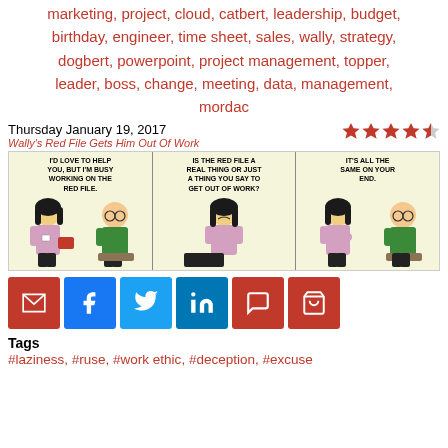marketing, project, cloud, catbert, leadership, budget, birthday, engineer, time sheet, sales, wally, strategy, dogbert, powerpoint, project management, topper, leader, boss, change, meeting, data, management, mordac
Thursday January 19, 2017
Wally's Red File Gets Him Out Of Work
[Figure (illustration): Dilbert comic strip with three panels. Panel 1: character says 'I'D LOVE TO HELP YOU, BUT I'M BUSY WORKING ON THE RED FILE.' Panel 2: character asks 'IS THE RED FILE A REAL THING OR JUST A THING YOU SAY TO GET OUT OF WORK?' Panel 3: character replies 'IT'S ALL THE SAME ON YOUR END.']
[Figure (infographic): Social sharing buttons row: email (red), facebook (blue), twitter (light blue), linkedin (dark blue), comment (red), cart (red)]
Tags
#laziness, #ruse, #work ethic, #deception, #excuse